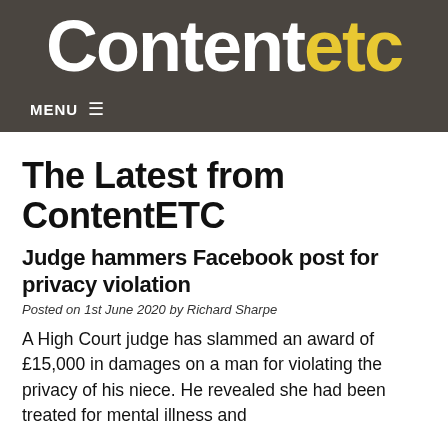Contentetc
The Latest from ContentETC
Judge hammers Facebook post for privacy violation
Posted on 1st June 2020 by Richard Sharpe
A High Court judge has slammed an award of £15,000 in damages on a man for violating the privacy of his niece. He revealed she had been treated for mental illness and